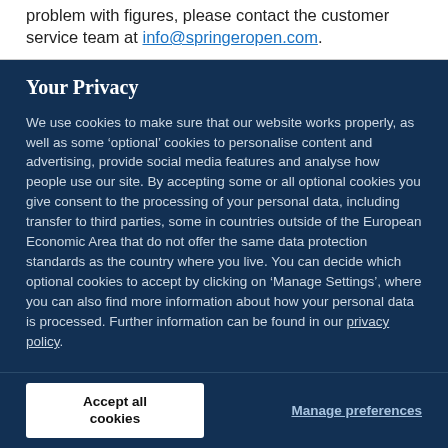problem with figures, please contact the customer service team at info@springeropen.com.
Your Privacy
We use cookies to make sure that our website works properly, as well as some ‘optional’ cookies to personalise content and advertising, provide social media features and analyse how people use our site. By accepting some or all optional cookies you give consent to the processing of your personal data, including transfer to third parties, some in countries outside of the European Economic Area that do not offer the same data protection standards as the country where you live. You can decide which optional cookies to accept by clicking on ‘Manage Settings’, where you can also find more information about how your personal data is processed. Further information can be found in our privacy policy.
Accept all cookies
Manage preferences